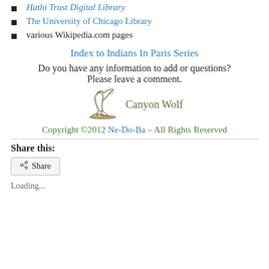Hathi Trust Digital Library
The University of Chicago Library
various Wikipedia.com pages
Index to Indians In Paris Series
Do you have any information to add or questions? Please leave a comment.
[Figure (illustration): Canyon Wolf logo - a wolf figure illustration with the text Canyon Wolf]
Copyright ©2012 Ne-Do-Ba – All Rights Reserved
Share this:
Share
Loading...